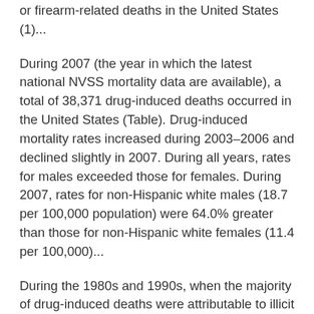or firearm-related deaths in the United States (1)...
During 2007 (the year in which the latest national NVSS mortality data are available), a total of 38,371 drug-induced deaths occurred in the United States (Table). Drug-induced mortality rates increased during 2003–2006 and declined slightly in 2007. During all years, rates for males exceeded those for females. During 2007, rates for non-Hispanic white males (18.7 per 100,000 population) were 64.0% greater than those for non-Hispanic white females (11.4 per 100,000)...
During the 1980s and 1990s, when the majority of drug-induced deaths were attributable to illicit drugs (e.g., heroin and cocaine), drug-induced mortality rates